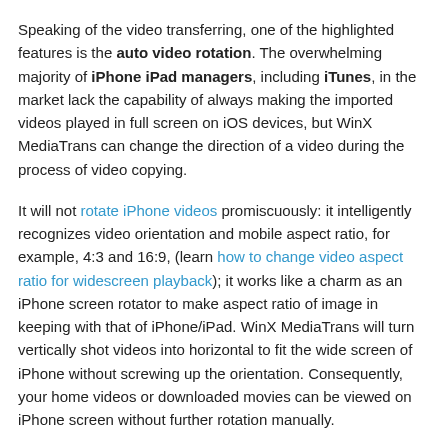Speaking of the video transferring, one of the highlighted features is the auto video rotation. The overwhelming majority of iPhone iPad managers, including iTunes, in the market lack the capability of always making the imported videos played in full screen on iOS devices, but WinX MediaTrans can change the direction of a video during the process of video copying.
It will not rotate iPhone videos promiscuously: it intelligently recognizes video orientation and mobile aspect ratio, for example, 4:3 and 16:9, (learn how to change video aspect ratio for widescreen playback); it works like a charm as an iPhone screen rotator to make aspect ratio of image in keeping with that of iPhone/iPad. WinX MediaTrans will turn vertically shot videos into horizontal to fit the wide screen of iPhone without screwing up the orientation. Consequently, your home videos or downloaded movies can be viewed on iPhone screen without further rotation manually.